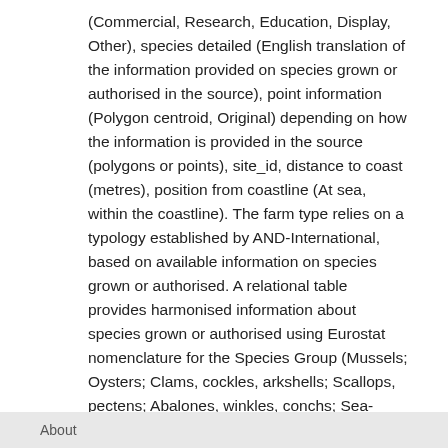(Commercial, Research, Education, Display, Other), species detailed (English translation of the information provided on species grown or authorised in the source), point information (Polygon centroid, Original) depending on how the information is provided in the source (polygons or points), site_id, distance to coast (metres), position from coastline (At sea, within the coastline). The farm type relies on a typology established by AND-International, based on available information on species grown or authorised. A relational table provides harmonised information about species grown or authorised using Eurostat nomenclature for the Species Group (Mussels; Oysters; Clams, cockles, arkshells; Scallops, pectens; Abalones, winkles, conchs; Sea-urchins and other echinoderms) and when available the species name (e.g. Blue mussels - Mytilus edulis). The distance to coast (EEA coastline shapefile) has been calculated using the original data map projections, where available. In the other cases it was used the UTM WGS84
About